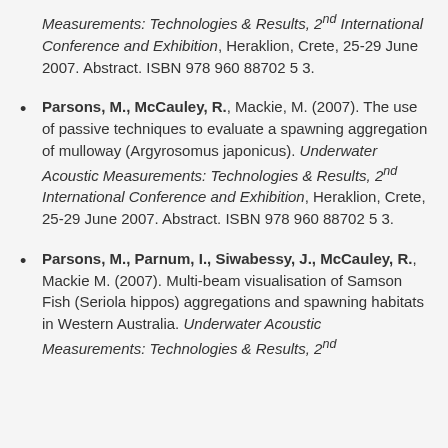Measurements: Technologies & Results, 2nd International Conference and Exhibition, Heraklion, Crete, 25-29 June 2007. Abstract. ISBN 978 960 88702 5 3.
Parsons, M., McCauley, R., Mackie, M. (2007). The use of passive techniques to evaluate a spawning aggregation of mulloway (Argyrosomus japonicus). Underwater Acoustic Measurements: Technologies & Results, 2nd International Conference and Exhibition, Heraklion, Crete, 25-29 June 2007. Abstract. ISBN 978 960 88702 5 3.
Parsons, M., Parnum, I., Siwabessy, J., McCauley, R., Mackie M. (2007). Multi-beam visualisation of Samson Fish (Seriola hippos) aggregations and spawning habitats in Western Australia. Underwater Acoustic Measurements: Technologies & Results, 2nd